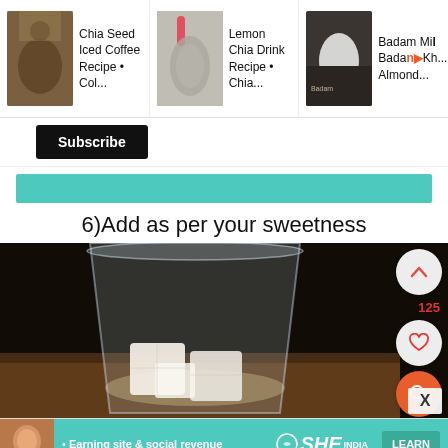[Figure (screenshot): Top bar showing three recommended video cards: 'Chia Seed Iced Coffee Recipe • Col...', 'Lemon Chia Drink Recipe • Chia...', 'Badam Milk / Badam Kh... Almond...']
Subscribe
[Figure (screenshot): Teal/turquoise horizontal banner strip]
6)Add as per your sweetness
[Figure (photo): Photo of a glass containing sugar cubes (white cubes) with some liquid, on a dark wooden background. Side UI shows up-chevron button, 125 likes, heart button, orange search button, and X close button.]
[Figure (screenshot): Ad banner for SHE PARTNER NETWORK showing woman avatar, bullet points 'Earning site & social revenue' and 'Traffic growth', SHE logo, and LEARN MORE button]